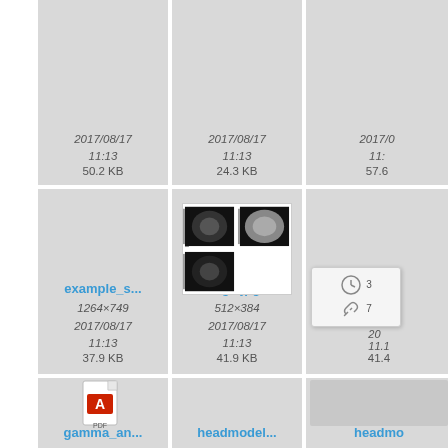[Figure (screenshot): File browser grid view showing file thumbnails. Row 1 (partial, top-cropped): three file cards with dates 2017/08/17 11:13 and sizes 50.2 KB, 24.3 KB, 57.6 KB. Row 2: example_s... (1264x749, 2017/08/17 11:13, 37.9 KB), fig1.jpg (512x384, 2017/08/17 11:13, 41.9 KB), fig2.j... (partially visible with overlay icons showing clock and link icons, size 41.4 KB). Row 3 (partial bottom): gamma_an... file card with PDF icon, headmodel... and headmo... cards.]